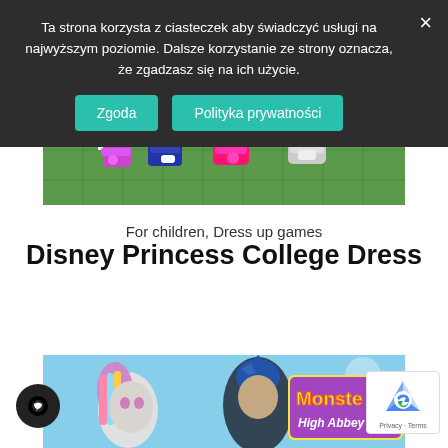[Figure (screenshot): Partial view of a dress-up game showing character feet with colorful shoes on a green background]
For children, Dress up games
Disney Princess College Dress
Ta strona korzysta z ciasteczek aby świadczyć usługi na najwyższym poziomie. Dalsze korzystanie ze strony oznacza, że zgadzasz się na ich użycie.
Zgoda
Polityka prywatności
[Figure (screenshot): Monster High Abbey game screenshot showing animated characters including a pale girl with colorful hair and a male character, with Monster High Abbey logo text]